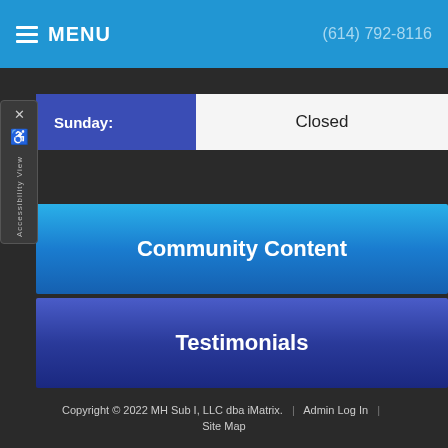MENU | (614) 792-8116
| Day | Hours |
| --- | --- |
| Sunday: | Closed |
Community Content
Testimonials
No social media links found. Please configure it
Copyright © 2022 MH Sub I, LLC dba iMatrix. | Admin Log In | Site Map